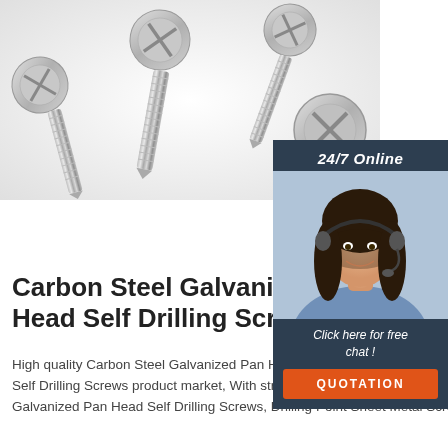[Figure (photo): Product photo of multiple silver/chrome pan head self-drilling screws arranged on a white background, viewed from above at an angle]
[Figure (photo): Sidebar panel with dark navy background showing '24/7 Online' text, a photo of a smiling woman with headset (customer service representative), 'Click here for free chat!' text, and an orange QUOTATION button]
Carbon Steel Galvanized Head Self Drilling Screws
High quality Carbon Steel Galvanized Pan Head Self Drilling Screws, Drilling Point Sheet Metal Screw from China, China's leading Self Drilling Screws product market, With strict quality control Self Drilling Screws factories, Producing high quality Carbon Steel Galvanized Pan Head Self Drilling Screws, Drilling Point Sheet Metal Screw products.